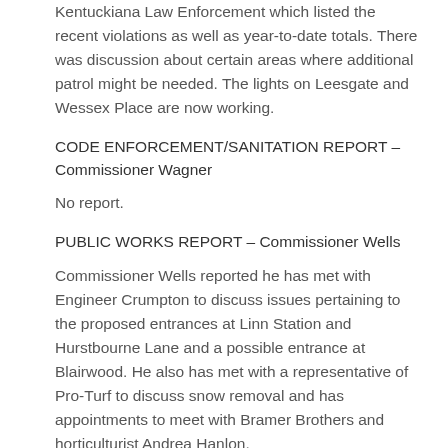Kentuckiana Law Enforcement which listed the recent violations as well as year-to-date totals. There was discussion about certain areas where additional patrol might be needed. The lights on Leesgate and Wessex Place are now working.
CODE ENFORCEMENT/SANITATION REPORT – Commissioner Wagner
No report.
PUBLIC WORKS REPORT – Commissioner Wells
Commissioner Wells reported he has met with Engineer Crumpton to discuss issues pertaining to the proposed entrances at Linn Station and Hurstbourne Lane and a possible entrance at Blairwood. He also has met with a representative of Pro-Turf to discuss snow removal and has appointments to meet with Bramer Brothers and horticulturist Andrea Hanlon.